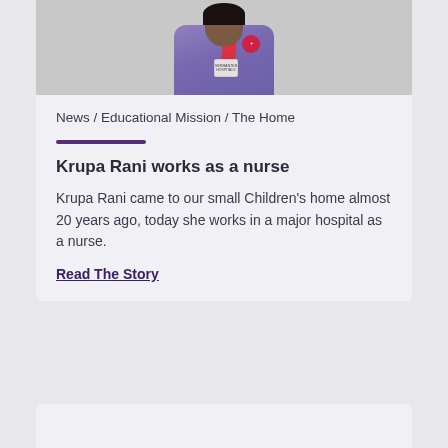[Figure (photo): Person wearing a purple polo shirt with a Germanten Hospitals logo and a red lanyard with ID badge, upper body portrait against a light wall background]
News / Educational Mission / The Home
Krupa Rani works as a nurse
Krupa Rani came to our small Children's home almost 20 years ago, today she works in a major hospital as a nurse.
Read The Story